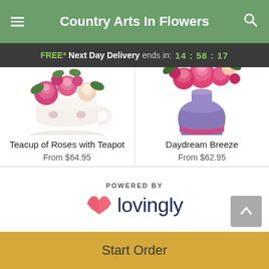Country Arts In Flowers
FREE* Next Day Delivery ends in: 14:58:17
[Figure (photo): Teacup of Roses with Teapot flower arrangement — pink and cream roses in a teacup on a saucer]
Teacup of Roses with Teapot
From $64.95
[Figure (photo): Daydream Breeze flower arrangement — pink and magenta flowers in a purple vase]
Daydream Breeze
From $62.95
POWERED BY lovingly
Start Order